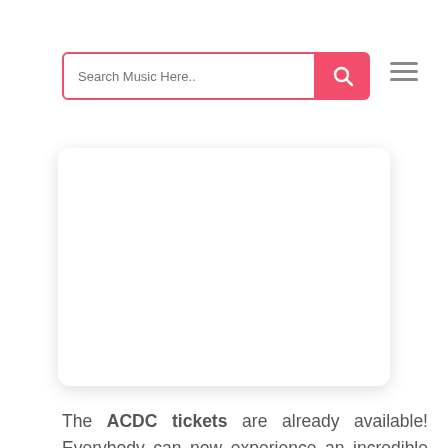Search Music Here..
[Figure (screenshot): White card/image placeholder with rounded corners and drop shadow]
The ACDC tickets are already available! Everybody can now experience an incredible show from their favorite performer. Here you can purchase the tickets for all your favorite shows. Is there a fan that wouldn't appreciate